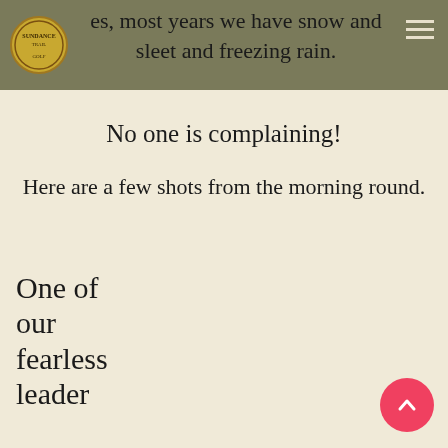es, most years we have snow and sleet and freezing rain.
No one is complaining!
Here are a few shots from the morning round.
One of our fearless leader